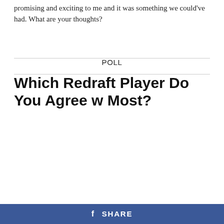promising and exciting to me and it was something we could've had. What are your thoughts?
POLL
Which Redraft Player Do You Agree w Most?
[Figure (bar-chart): Which Redraft Player Do You Agree w Most?]
f SHARE